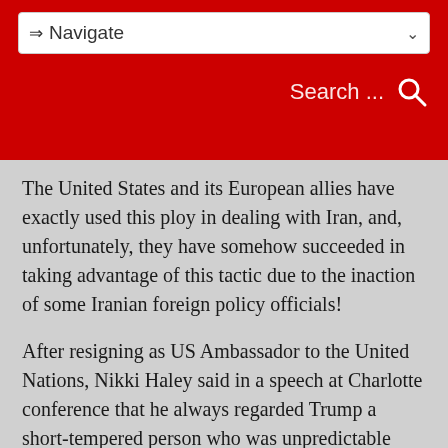⇒ Navigate   Search ...
The United States and its European allies have exactly used this ploy in dealing with Iran, and, unfortunately, they have somehow succeeded in taking advantage of this tactic due to the inaction of some Iranian foreign policy officials!
After resigning as US Ambassador to the United Nations, Nikki Haley said in a speech at Charlotte conference that he always regarded Trump a short-tempered person who was unpredictable during negotiations in order to scare the other side. This was what Trump wanted and the mission assigned to her, she says.